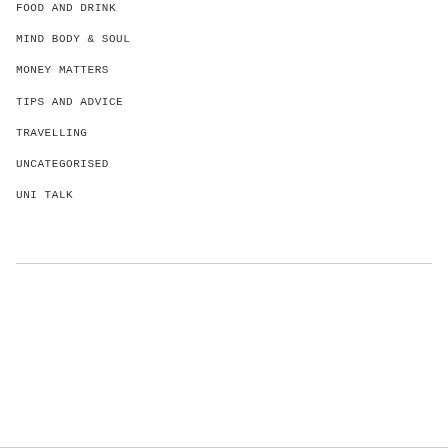FOOD AND DRINK
MIND BODY & SOUL
MONEY MATTERS
TIPS AND ADVICE
TRAVELLING
UNCATEGORISED
UNI TALK
Copyright © 2022 Juliet
Juliet by LyraThemes.com